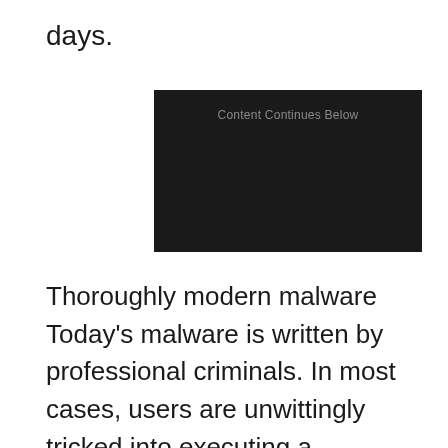days.
[Figure (other): Dark advertisement placeholder box with text 'Content Continues Below']
Thoroughly modern malware Today's malware is written by professional criminals. In most cases, users are unwittingly tricked into executing a malicious program in the form of a Trojan horse. Users think they are installing needed software, often "recommended" by a site they trust. In fact those sites are recommending nothing of the kind. Malware producers routinely break into legitimate websites using found vulnerabilities and modify existing Web pages to include